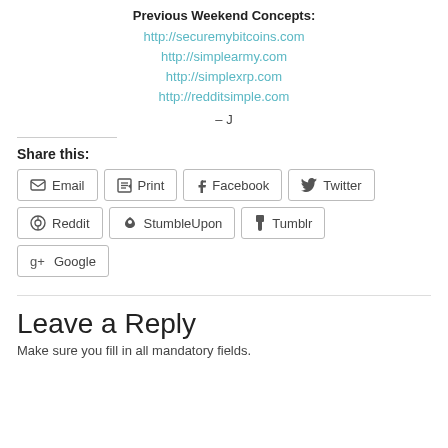Previous Weekend Concepts:
http://securemybitcoins.com
http://simplearmy.com
http://simplexrp.com
http://redditsimple.com
– J
Share this:
Email  Print  Facebook  Twitter  Reddit  StumbleUpon  Tumblr  Google
Leave a Reply
Make sure you fill in all mandatory fields.